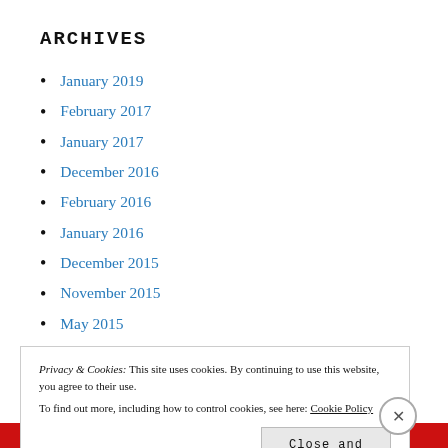ARCHIVES
January 2019
February 2017
January 2017
December 2016
February 2016
January 2016
December 2015
November 2015
May 2015
Privacy & Cookies: This site uses cookies. By continuing to use this website, you agree to their use. To find out more, including how to control cookies, see here: Cookie Policy
Close and accept